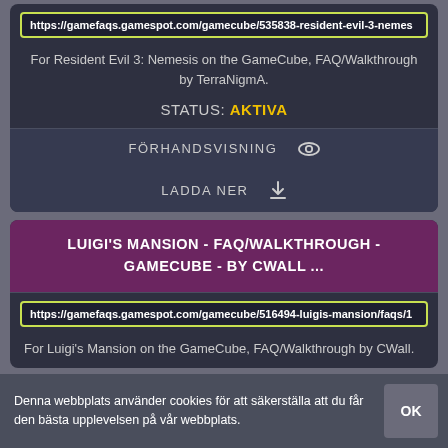https://gamefaqs.gamespot.com/gamecube/535838-resident-evil-3-nemes
For Resident Evil 3: Nemesis on the GameCube, FAQ/Walkthrough by TerraNigmA.
STATUS: AKTIVA
FÖRHANDSVISNING
LADDA NER
LUIGI'S MANSION - FAQ/WALKTHROUGH - GAMECUBE - BY CWALL ...
https://gamefaqs.gamespot.com/gamecube/516494-luigis-mansion/faqs/1
For Luigi's Mansion on the GameCube, FAQ/Walkthrough by CWall.
Denna webbplats använder cookies för att säkerställa att du får den bästa upplevelsen på vår webbplats.